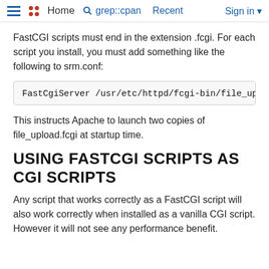≡  •• Home  🔍 grep::cpan  🕐 Recent  Sign in ▾
FastCGI scripts must end in the extension .fcgi. For each script you install, you must add something like the following to srm.conf:
FastCgiServer /usr/etc/httpd/fcgi-bin/file_uplo
This instructs Apache to launch two copies of file_upload.fcgi at startup time.
USING FASTCGI SCRIPTS AS CGI SCRIPTS
Any script that works correctly as a FastCGI script will also work correctly when installed as a vanilla CGI script. However it will not see any performance benefit.